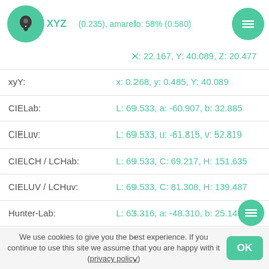XYZ  (0.235), amarelo: 58% (0.580)
X: 22.167, Y: 40.089, Z: 20.477
xyY:   x: 0.268, y: 0.485, Y: 40.089
CIELab:   L: 69.533, a: -60.907, b: 32.885
CIELuv:   L: 69.533, u: -61.815, v: 52.819
CIELCH / LCHab:   L: 69.533, C: 69.217, H: 151.635
CIELUV / LCHuv:   L: 69.533, C: 81.308, H: 139.487
Hunter-Lab:   L: 63.316, a: -48.310, b: 25.146
CIECAM02:   J: 58.411, C: 62.437, h: 151.309, Q: 150.576, M: 54.600, s: 60.217, H: 187.126
OSA-UCS:   leveza: -9.711, amarelo: 5.163, verde:
We use cookies to give you the best experience. If you continue to use this site we assume that you are happy with it (privacy policy)